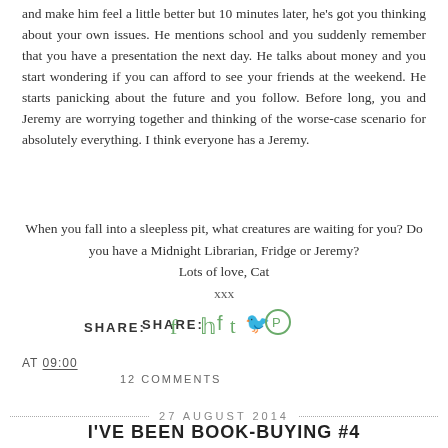and make him feel a little better but 10 minutes later, he's got you thinking about your own issues. He mentions school and you suddenly remember that you have a presentation the next day. He talks about money and you start wondering if you can afford to see your friends at the weekend. He starts panicking about the future and you follow. Before long, you and Jeremy are worrying together and thinking of the worse-case scenario for absolutely everything. I think everyone has a Jeremy.
When you fall into a sleepless pit, what creatures are waiting for you? Do you have a Midnight Librarian, Fridge or Jeremy?
Lots of love, Cat
xxx
SHARE:
AT 09:00
12 COMMENTS
27 AUGUST 2014
I'VE BEEN BOOK-BUYING #4